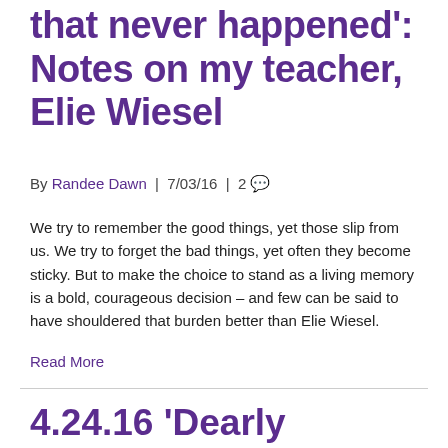that never happened': Notes on my teacher, Elie Wiesel
By Randee Dawn | 7/03/16 | 2 [comments]
We try to remember the good things, yet those slip from us. We try to forget the bad things, yet often they become sticky. But to make the choice to stand as a living memory is a bold, courageous decision – and few can be said to have shouldered that burden better than Elie Wiesel.
Read More
4.24.16 'Dearly beloved, we are gathered here today to